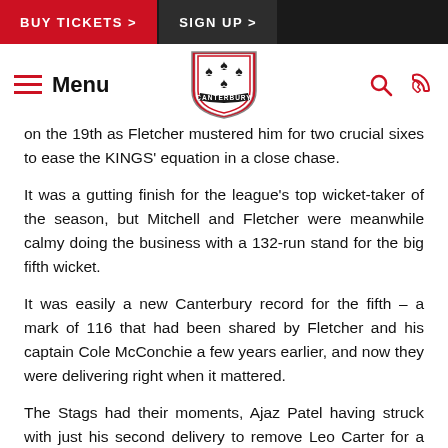BUY TICKETS >   SIGN UP >
on the 19th as Fletcher mustered him for two crucial sixes to ease the KINGS' equation in a close chase.
It was a gutting finish for the league's top wicket-taker of the season, but Mitchell and Fletcher were meanwhile calmy doing the business with a 132-run stand for the big fifth wicket.
It was easily a new Canterbury record for the fifth – a mark of 116 that had been shared by Fletcher and his captain Cole McConchie a few years earlier, and now they were delivering right when it mattered.
The Stags had their moments, Ajaz Patel having struck with just his second delivery to remove Leo Carter for a golden duck.